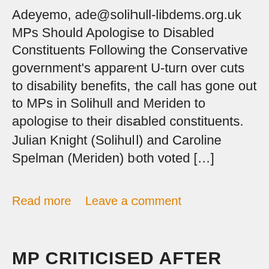Adeyemo, ade@solihull-libdems.org.uk MPs Should Apologise to Disabled Constituents Following the Conservative government's apparent U-turn over cuts to disability benefits, the call has gone out to MPs in Solihull and Meriden to apologise to their disabled constituents. Julian Knight (Solihull) and Caroline Spelman (Meriden) both voted […]
Read more   Leave a comment
MP CRITICISED AFTER